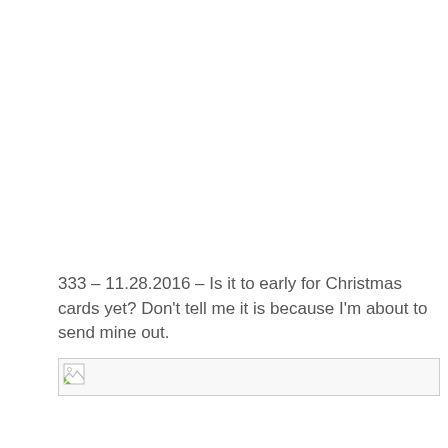333 – 11.28.2016 – Is it to early for Christmas cards yet? Don't tell me it is because I'm about to send mine out.
[Figure (photo): Broken image placeholder icon (image failed to load)]